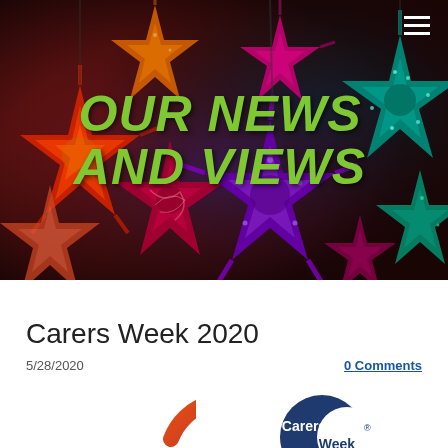[Figure (photo): Colorful decorative star-shaped paper lanterns hanging, forming a vibrant background image for the newsletter header]
OUR NEWS AND VIEWS
Carers Week 2020
5/28/2020
0 Comments
[Figure (logo): Making Caring Visible circular logo with orange/red/pink gradient arc]
[Figure (logo): Carers Week logo - dark blue circle with white text 'Carers Week' and registered trademark symbol]